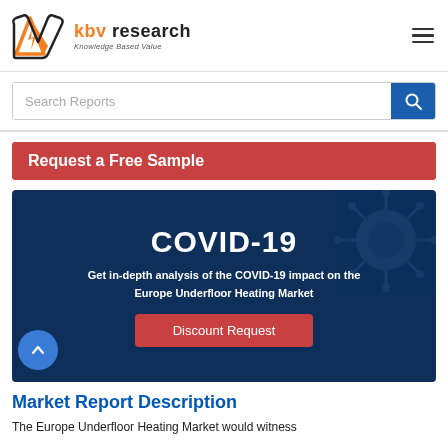KBV Research - Knowledge Based Value
Search Reports
Request a Free Sample
[Figure (infographic): COVID-19 banner with dark navy background and virus imagery. Title: COVID-19. Text: Get in-depth analysis of the COVID-19 impact on the Europe Underfloor Heating Market. Button: Discount Request]
Market Report Description
The Europe Underfloor Heating Market would witness